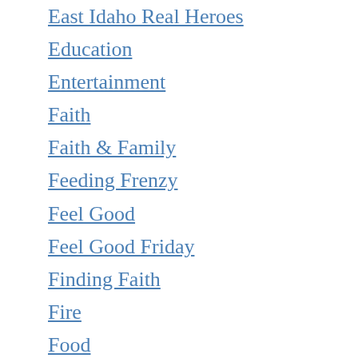East Idaho Real Heroes
Education
Entertainment
Faith
Faith & Family
Feeding Frenzy
Feel Good
Feel Good Friday
Finding Faith
Fire
Food
From the Newsroom
Getting to Know
Health
Health & Fitness